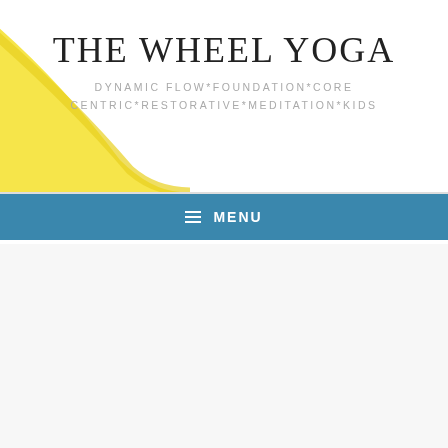THE WHEEL YOGA
DYNAMIC FLOW*FOUNDATION*CORE CENTRIC*RESTORATIVE*MEDITATION*KIDS
≡ MENU
FAQS
COMMONLY ASKED QUESTIONS AT THE WHEEL YOGA STUDIO